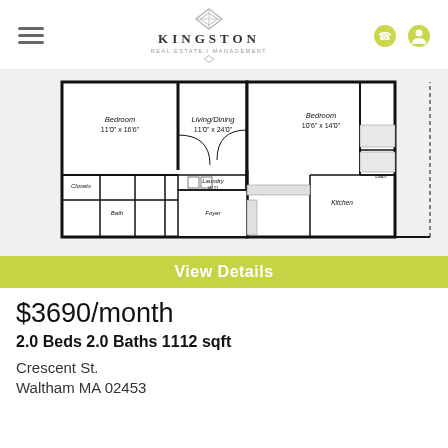Kingston Real Estate / Management
[Figure (engineering-diagram): Apartment floor plan showing two bedrooms, living/dining area, kitchen, two baths, laundry, closets, and foyer. Left bedroom: 11'0" x 16'6". Living/Dining: 11'0" x 24'0". Right Bedroom: 10'6" x 14'0". With View Details button overlay.]
$3690/month
2.0 Beds 2.0 Baths 1112 sqft
Crescent St.
Waltham MA 02453